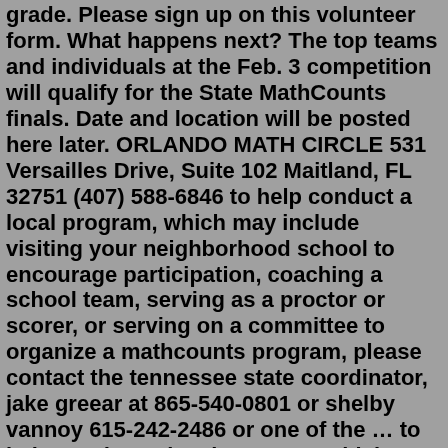grade. Please sign up on this volunteer form. What happens next? The top teams and individuals at the Feb. 3 competition will qualify for the State MathCounts finals. Date and location will be posted here later. ORLANDO MATH CIRCLE 531 Versailles Drive, Suite 102 Maitland, FL 32751 (407) 588-6846 to help conduct a local program, which may include visiting your neighborhood school to encourage participation, coaching a school team, serving as a proctor or scorer, or serving on a committee to organize a mathcounts program, please contact the tennessee state coordinator, jake greear at 865-540-0801 or shelby vannoy 615-242-2486 or one of the … to help conduct a local program, which may include visiting your neighborhood school to encourage participation, coaching a school team, serving as a proctor or scorer, or serving on a committee to organize a mathcounts program, please contact the tennessee state coordinator, jake greear at 865-540-0801 or shelby vannoy 615-242-2486 or one of the … MOCK MATHCOUNTS The Llama Lazer